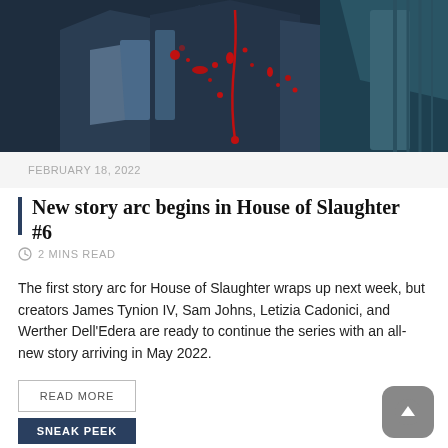[Figure (illustration): Dark comic book style illustration showing a figure with red blood splatters on a dark blue/black background]
FEBRUARY 18, 2022
New story arc begins in House of Slaughter #6
2 MINS READ
The first story arc for House of Slaughter wraps up next week, but creators James Tynion IV, Sam Johns, Letizia Cadonici, and Werther Dell'Edera are ready to continue the series with an all-new story arriving in May 2022.
READ MORE
SNEAK PEEK